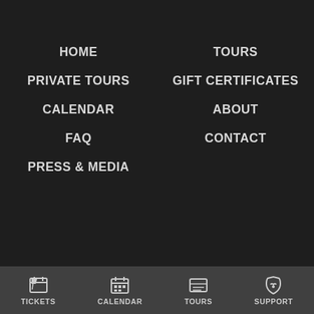HOME
PRIVATE TOURS
CALENDAR
FAQ
PRESS & MEDIA
TOURS
GIFT CERTIFICATES
ABOUT
CONTACT
[Figure (infographic): Social media icons: Facebook, Instagram, Twitter, TripAdvisor]
Legal
This website uses cookies to provide you a great user experience. By using our site, you accept our Privacy Policy
ACCEPT
TICKETS   CALENDAR   TOURS   SUPPORT